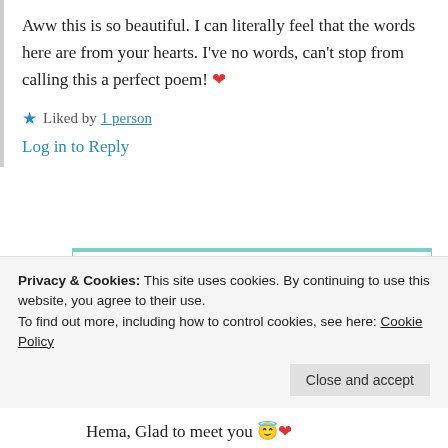Aww this is so beautiful. I can literally feel that the words here are from your hearts. I’ve no words, can’t stop from calling this a perfect poem! ❤️
★ Liked by 1 person
Log in to Reply
Suma Reddy
31st Aug 2021 at 7:52 am
Privacy & Cookies: This site uses cookies. By continuing to use this website, you agree to their use. To find out more, including how to control cookies, see here: Cookie Policy
Close and accept
Hema, Glad to meet you 😇❤️